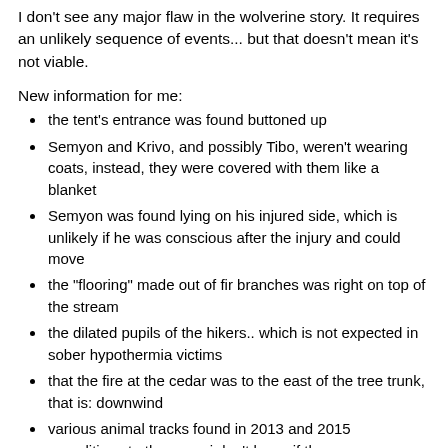I don't see any major flaw in the wolverine story. It requires an unlikely sequence of events... but that doesn't mean it's not viable.
New information for me:
the tent's entrance was found buttoned up
Semyon and Krivo, and possibly Tibo, weren't wearing coats, instead, they were covered with them like a blanket
Semyon was found lying on his injured side, which is unlikely if he was conscious after the injury and could move
the "flooring" made out of fir branches was right on top of the stream
the dilated pupils of the hikers.. which is not expected in sober hypothermia victims
that the fire at the cedar was to the east of the tree trunk, that is: downwind
various animal tracks found in 2013 and 2015 expeditions to the pass, i don't know if these were identified on that forum, maybe i missed it (translator software isn't 100% when translating images)
how high the cedar's position is, on the other side of of the slope of the lozva tributary's valley.. this is indicated by a signal rocket in one of the videos
that Ortyukov described a yellow substance that transferred to his hand when he touched the "ravine 4"
also one more I forgot, that it must have been 0C or close to it when they walked down to the forest, for the characteristic